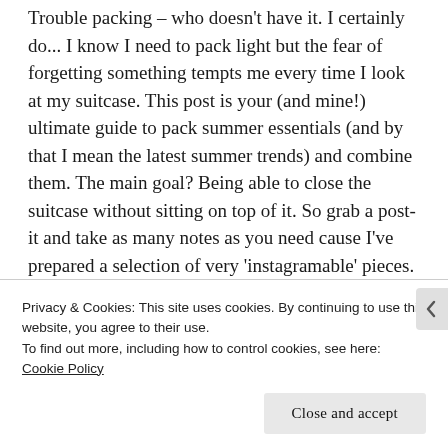Trouble packing – who doesn't have it. I certainly do... I know I need to pack light but the fear of forgetting something tempts me every time I look at my suitcase. This post is your (and mine!) ultimate guide to pack summer essentials (and by that I mean the latest summer trends) and combine them. The main goal? Being able to close the suitcase without sitting on top of it. So grab a post-it and take as many notes as you need cause I've prepared a selection of very 'instagramable' pieces.
BIKINI & SWIMSUIT
The must something to pack that will allow you to create...
Privacy & Cookies: This site uses cookies. By continuing to use this website, you agree to their use.
To find out more, including how to control cookies, see here:
Cookie Policy
Close and accept